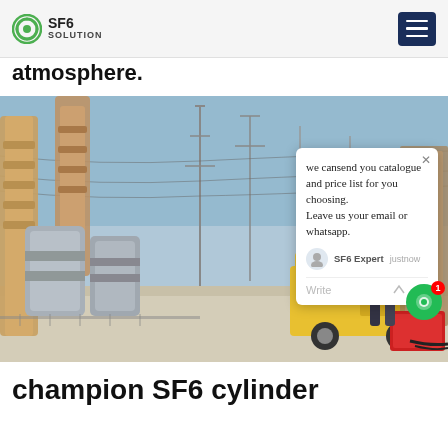SF6 SOLUTION
atmosphere.
[Figure (photo): Electrical substation with large SF6 gas-insulated transformers/bushings in grey, a yellow ISUZU service truck in the center, power pylons in background, and workers with equipment on the right side. A chat popup overlay reads: 'we cansend you catalogue and price list for you choosing. Leave us your email or whatsapp.' from SF6 Expert, justnow.]
champion SF6 cylinder